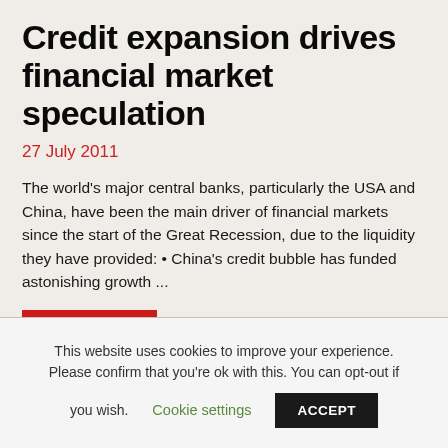Credit expansion drives financial market speculation
27 July 2011
The world's major central banks, particularly the USA and China, have been the main driver of financial markets since the start of the Great Recession, due to the liquidity they have provided: • China's credit bubble has funded astonishing growth ...
Read More
This website uses cookies to improve your experience. Please confirm that you're ok with this. You can opt-out if you wish. Cookie settings ACCEPT